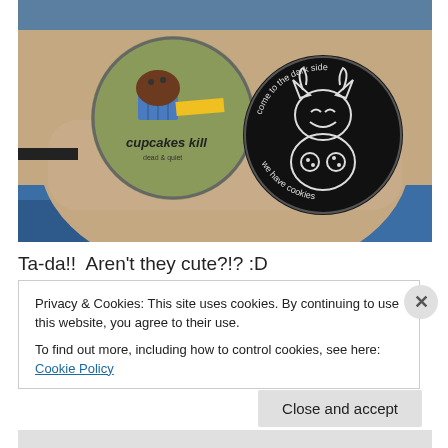[Figure (photo): A hand holding two circular pin badges. Left badge is olive green with a cartoon cupcake and text 'cupcakes kill'. Right badge is black with a cartoon cat/devil character holding cookies and text 'come to the dark side we have cookies'.]
Ta-da!!  Aren't they cute?!? :D
Privacy & Cookies: This site uses cookies. By continuing to use this website, you agree to their use.
To find out more, including how to control cookies, see here: Cookie Policy